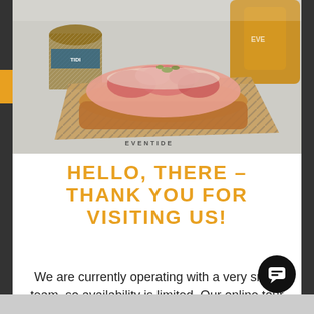[Figure (photo): Photo of a lobster roll in a cardboard boat tray on a perforated metal tray, with a cup of food and an amber drink bottle in the background. The tray has 'EVENTIDE' printed on it.]
HELLO, THERE – THANK YOU FOR VISITING US!
We are currently operating with a very small team, so availability is limited. Our online tour calendar is up to date for